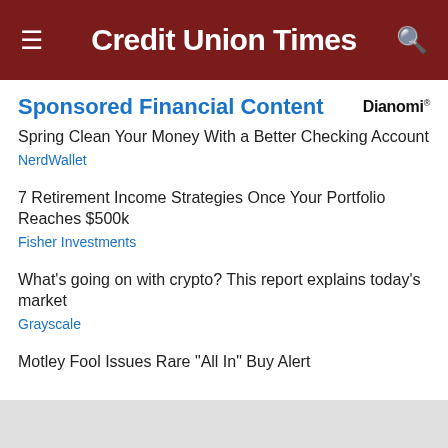Credit Union Times
Sponsored Financial Content
Spring Clean Your Money With a Better Checking Account
NerdWallet
7 Retirement Income Strategies Once Your Portfolio Reaches $500k
Fisher Investments
What's going on with crypto? This report explains today's market
Grayscale
Motley Fool Issues Rare "All In" Buy Alert